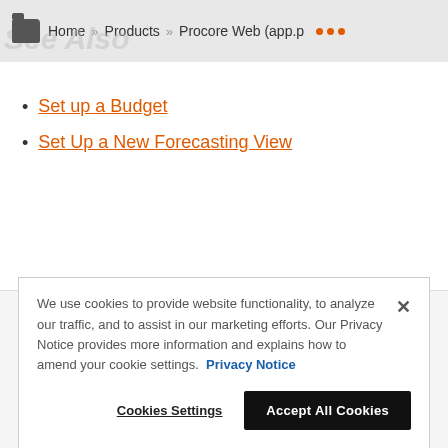Home » Products » Procore Web (app.p …
Set up a Budget
Set Up a New Forecasting View
If you would like to learn more about Procore's
We use cookies to provide website functionality, to analyze our traffic, and to assist in our marketing efforts. Our Privacy Notice provides more information and explains how to amend your cookie settings. Privacy Notice
Cookies Settings   Accept All Cookies